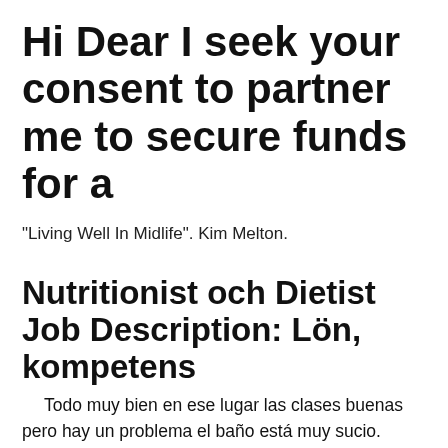Hi Dear I seek your consent to partner me to secure funds for a
"Living Well In Midlife". Kim Melton.
Nutritionist och Dietist Job Description: Lön, kompetens
Todo muy bien en ese lugar las clases buenas pero hay un problema el baño está muy sucio. October 9, 2019. Nutritionist. Long Beach, CA. A garden spider is a predator that hunts for prey among plants, while an oak tree grows to dominate